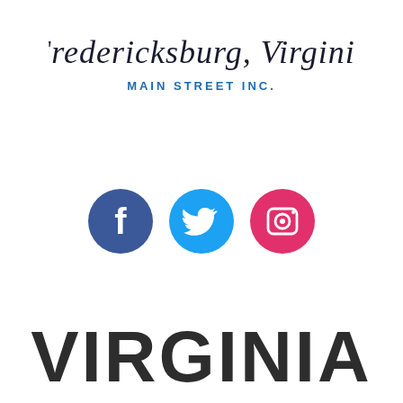[Figure (logo): Fredericksburg, Virginia Main Street Inc. logo — script text 'Fredericksburg, Virginia' in cursive with 'MAIN STREET INC.' in blue bold capitals below]
[Figure (logo): Three social media icons: Facebook (dark blue circle with white 'f'), Twitter (light blue circle with white bird), Instagram (pink/red circle with white camera icon)]
[Figure (logo): VIRGINIA text in large bold dark grey sans-serif letters]